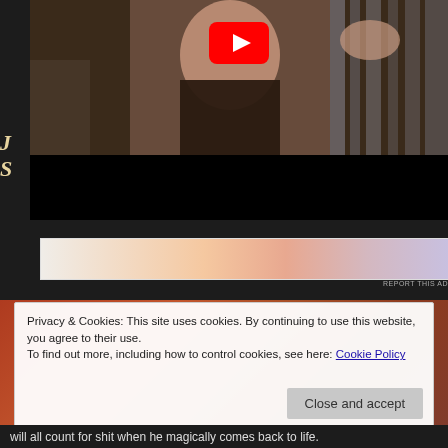[Figure (screenshot): YouTube video embed showing a man in dark clothing with a YouTube play button overlay. Upper portion shows a person and shadowed background, lower portion is black.]
[Figure (screenshot): Advertisement banner with gradient colors from white to peach/pink/purple. Text: 'REPORT THIS AD' in small caps at bottom right.]
Privacy & Cookies: This site uses cookies. By continuing to use this website, you agree to their use.
To find out more, including how to control cookies, see here: Cookie Policy
Close and accept
will all count for shit when he magically comes back to life.